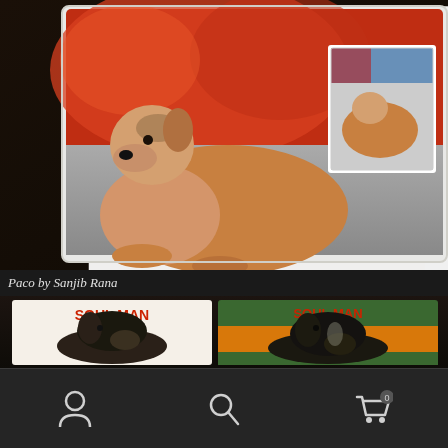[Figure (photo): Photo of a dog painting/artwork on a placemat showing a golden/tan dog lying on gravel with a red and orange background, next to a reference photo of the same dog. Both displayed on a dark wooden surface.]
Paco by Sanjib Rana
[Figure (photo): Photo of two dog portrait artworks labeled 'SOUL MAN' - one on a white background tile and one on a green/orange background tile, both showing a dark-colored dog's portrait.]
User icon, Search icon, Cart icon with badge 0